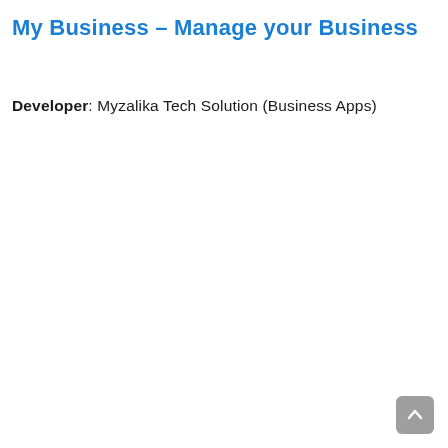My Business – Manage your Business
Developer: Myzalika Tech Solution (Business Apps)